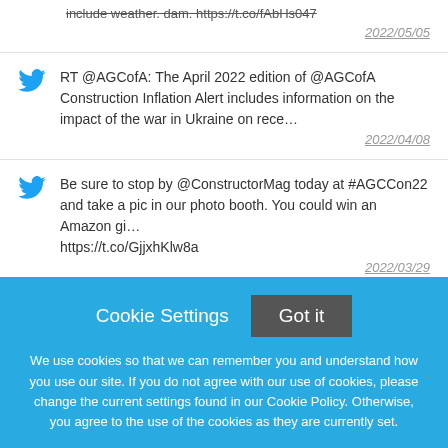include weather. dam. https://t.co/fAbHs047 2022/05/05
RT @AGCofA: The April 2022 edition of @AGCofA Construction Inflation Alert includes information on the impact of the war in Ukraine on rece… 2022/04/08
Be sure to stop by @ConstructorMag today at #AGCCon22 and take a pic in our photo booth. You could win an Amazon gi… https://t.co/GjjxhKlw8a 2022/03/29
Hello, Texas! #AGCCon22 @AGCofA
Cookie Settings  Got it
We use cookies so that we can remember you and understand how you use our site. If you do not agree with our use of cookies, please change the current settings found in our Cookie Policy. Otherwise, you agree to the use of the cookies as they are currently set.